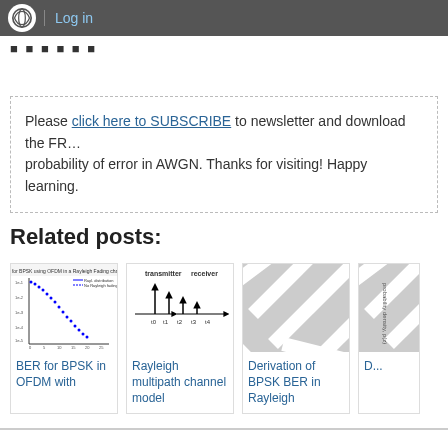Log in
[DIGITAL COMMUNICATION: PROAKIS] Digital Communications by J...
Please click here to SUBSCRIBE to newsletter and download the FR... probability of error in AWGN. Thanks for visiting! Happy learning.
Related posts:
[Figure (screenshot): BER for BPSK in OFDM with - line chart thumbnail]
BER for BPSK in OFDM with
[Figure (screenshot): Rayleigh multipath channel model - diagram thumbnail]
Rayleigh multipath channel model
[Figure (screenshot): Derivation of BPSK BER in Rayleigh - diagonal stripes placeholder]
Derivation of BPSK BER in Rayleigh
[Figure (screenshot): Fourth related post - partially visible]
D...